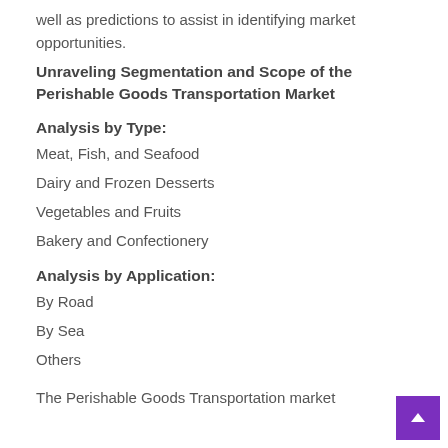well as predictions to assist in identifying market opportunities.
Unraveling Segmentation and Scope of the Perishable Goods Transportation Market
Analysis by Type:
Meat, Fish, and Seafood
Dairy and Frozen Desserts
Vegetables and Fruits
Bakery and Confectionery
Analysis by Application:
By Road
By Sea
Others
The Perishable Goods Transportation market